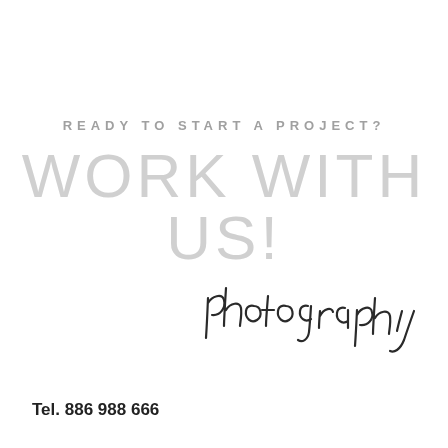READY TO START A PROJECT?
WORK WITH US!
[Figure (illustration): Handwritten cursive script reading 'photography' in dark ink]
Tel. 886 988 666